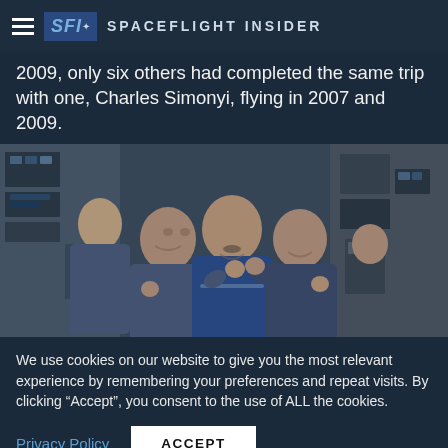SFI Spaceflight Insider
2009, only six others had completed the same trip with one, Charles Simonyi, flying in 2007 and 2009.
[Figure (photo): Three people in blue jumpsuits smiling and waving inside the International Space Station interior with control panels visible in the background.]
We use cookies on our website to give you the most relevant experience by remembering your preferences and repeat visits. By clicking “Accept”, you consent to the use of ALL the cookies.
Privacy Policy   ACCEPT